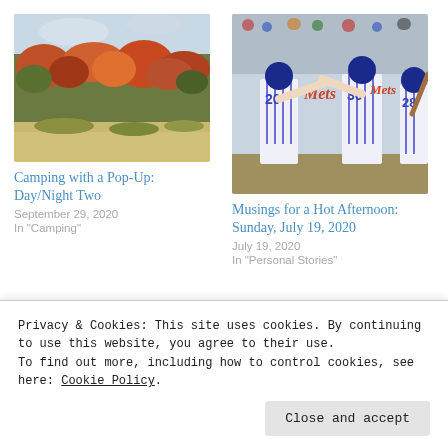[Figure (photo): Autumn hillside with orange and red foliage, sandy foreground]
[Figure (photo): Baseball players in NY Mets uniforms, numbers 20 and 30, celebrating on field]
Camping with a Pop-Up: Day/Night Two
September 29, 2020
In "Camping"
Musings for a Hot Afternoon: Sunday, July 19, 2020
July 19, 2020
In "Personal Stories"
[Figure (photo): Horses on a beach with ocean in background]
Privacy & Cookies: This site uses cookies. By continuing to use this website, you agree to their use.
To find out more, including how to control cookies, see here: Cookie Policy.